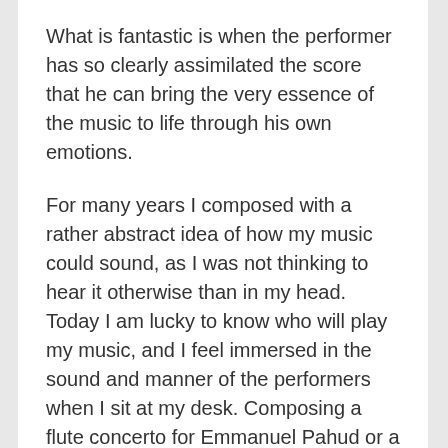What is fantastic is when the performer has so clearly assimilated the score that he can bring the very essence of the music to life through his own emotions.
For many years I composed with a rather abstract idea of how my music could sound, as I was not thinking to hear it otherwise than in my head. Today I am lucky to know who will play my music, and I feel immersed in the sound and manner of the performers when I sit at my desk. Composing a flute concerto for Emmanuel Pahud or a new work for Christian Tetzlaff has certainly influenced my inner ear and idea of what I wanted and could write.